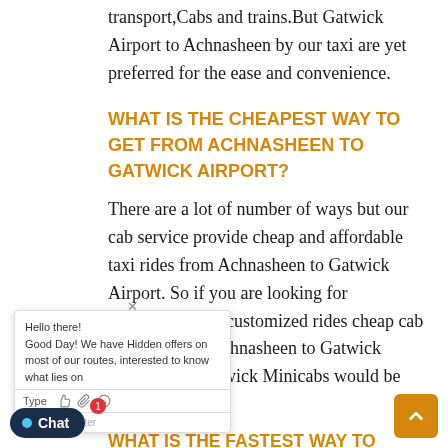transport,Cabs and trains.But Gatwick Airport to Achnasheen by our taxi are yet preferred for the ease and convenience.
WHAT IS THE CHEAPEST WAY TO GET FROM ACHNASHEEN TO GATWICK AIRPORT?
There are a lot of number of ways but our cab service provide cheap and affordable taxi rides from Achnasheen to Gatwick Airport. So if you are looking for comfortable yet customized rides cheap cab services from Achnasheen to Gatwick Airport like Gatwick Minicabs would be ideal.
WHAT IS THE FASTEST WAY TO TRAVEL FROM ACHNASHEEN TO GATWICK AIRPORT?